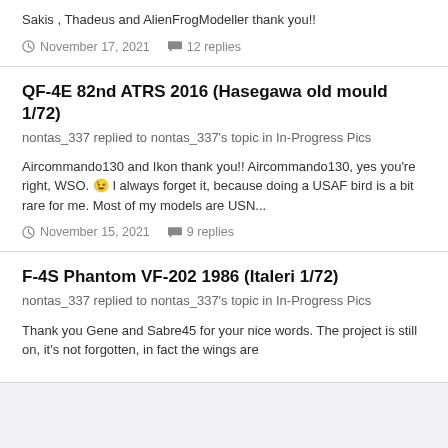Sakis , Thadeus and AlienFrogModeller thank you!!
November 17, 2021   12 replies
QF-4E 82nd ATRS 2016 (Hasegawa old mould 1/72)
nontas_337 replied to nontas_337's topic in In-Progress Pics
Aircommando130 and Ikon thank you!! Aircommando130, yes you're right, WSO. 😊 I always forget it, because doing a USAF bird is a bit rare for me. Most of my models are USN...
November 15, 2021   9 replies
F-4S Phantom VF-202 1986 (Italeri 1/72)
nontas_337 replied to nontas_337's topic in In-Progress Pics
Thank you Gene and Sabre45 for your nice words. The project is still on, it's not forgotten, in fact the wings are